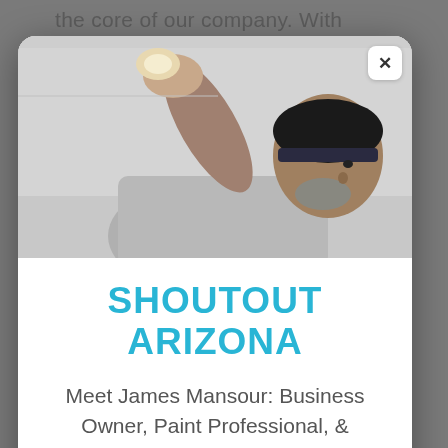the core of our company. With
[Figure (photo): A man wearing a dark cap, reaching up to apply tape or a tool to a wall/ceiling surface, viewed from below at an angle. The photo is inside a modal dialog.]
SHOUTOUT ARIZONA
Meet James Mansour: Business Owner, Paint Professional, & Influencer
has got your back.